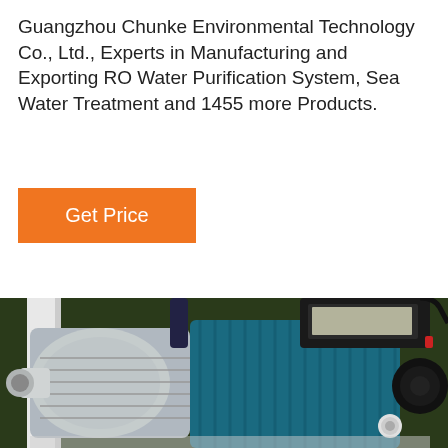Guangzhou Chunke Environmental Technology Co., Ltd., Experts in Manufacturing and Exporting RO Water Purification System, Sea Water Treatment and 1455 more Products.
[Figure (other): Orange 'Get Price' button]
[Figure (photo): Close-up photo of an industrial water pump with a stainless steel pump head on the left and a teal/blue electric motor body on the right, with a black control box on top, photographed against a green background.]